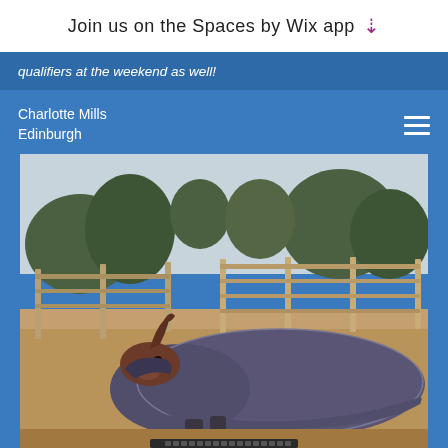Join us on the Spaces by Wix app
qualifiers at the weekend as well!
Charlotte Mills
Edinburgh
[Figure (photo): A horse lying down on sandy ground wearing a dark grey/purple horse rug/blanket, with a wooden fence and trees in the background.]